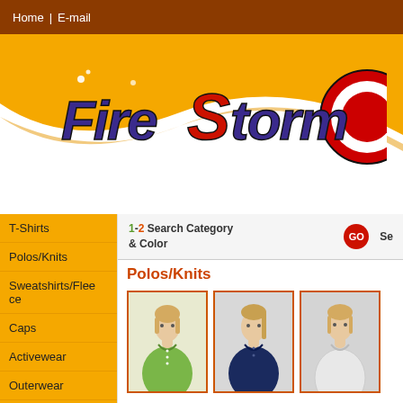Home | E-mail
[Figure (logo): FireStorm company logo in purple and red stylized text with a circular emblem]
T-Shirts
Polos/Knits
Sweatshirts/Fleece
Caps
Activewear
Outerwear
Woven Shirts
Workwear
Bags
Accessories
1-2 Search Category & Color GO Se
Polos/Knits
[Figure (photo): Woman wearing a green polo shirt]
[Figure (photo): Woman wearing a navy blue polo shirt]
[Figure (photo): Woman wearing a white long-sleeve polo shirt]